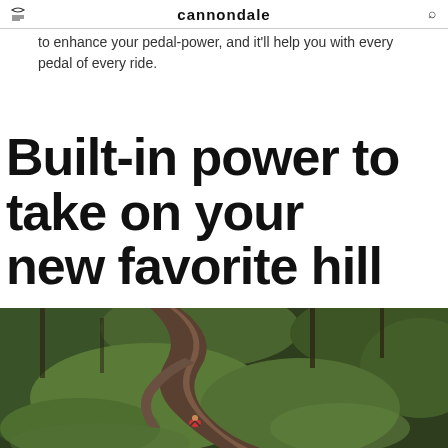cannondale
to enhance your pedal-power, and it'll help you with every pedal of every ride.
Built-in power to take on your new favorite hill
[Figure (photo): Aerial view of a mountain bike trail winding through green forest with a cyclist visible on the path]